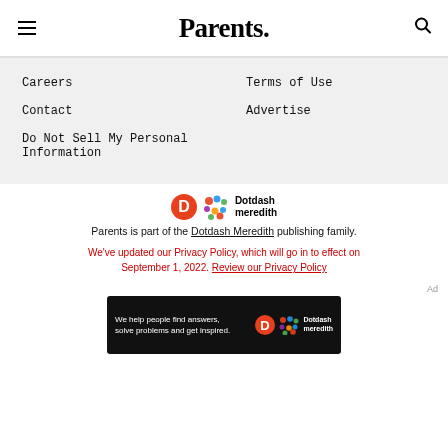Parents
Careers
Terms of Use
Contact
Advertise
Do Not Sell My Personal Information
[Figure (logo): Dotdash Meredith logo with orange D circle and colorful dot pattern]
Parents is part of the Dotdash Meredith publishing family.
We've updated our Privacy Policy, which will go in to effect on September 1, 2022. Review our Privacy Policy
Ad
[Figure (photo): Dotdash Meredith advertisement banner: We help people find answers, solve problems and get inspired.]